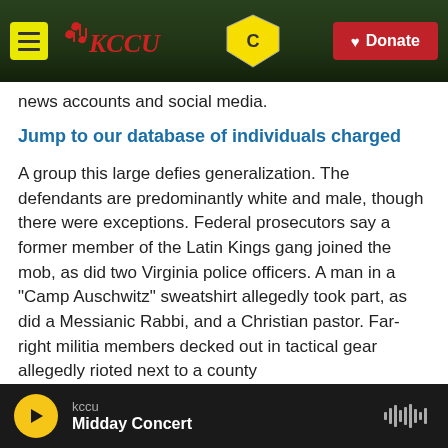KCCU | Donate
news accounts and social media.
Jump to our database of individuals charged
A group this large defies generalization. The defendants are predominantly white and male, though there were exceptions. Federal prosecutors say a former member of the Latin Kings gang joined the mob, as did two Virginia police officers. A man in a "Camp Auschwitz" sweatshirt allegedly took part, as did a Messianic Rabbi, and a Christian pastor. Far-right militia members decked out in tactical gear allegedly rioted next to a county
kccu | Midday Concert